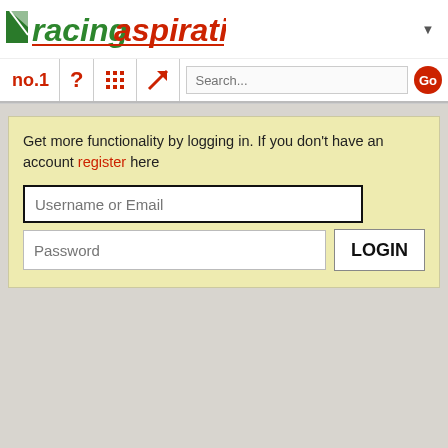[Figure (logo): Racing Aspirations logo with green flag icon and red/green text]
no.1  ?  [calculator]  [arrow]  Search...  Go
Get more functionality by logging in. If you don't have an account register here
Username or Email
Password  LOGIN
Download the App
[Figure (logo): Google Play store badge]
[Figure (logo): Apple App Store badge]